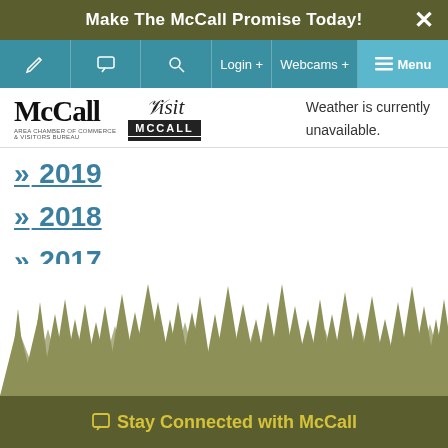Make The McCall Promise Today!
[Figure (screenshot): Navigation bar with icons for edit, comment, search, Login+, Webcams+, and Menu buttons in teal/blue]
[Figure (logo): McCall Area Chamber of Commerce & Visitors Bureau logo and Visit McCall badge logo]
Weather is currently unavailable.
» 2019
» 2018
» 2017
» 2016
[Figure (illustration): Silhouette of a pine/evergreen tree forest in olive green color]
Stay Connected with McCall